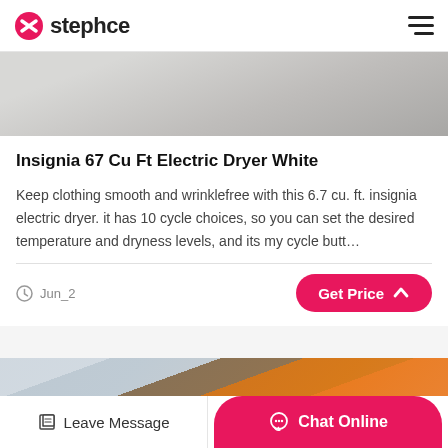stephce
[Figure (photo): Top portion of a dryer or appliance, grey/white tones, cropped]
Insignia 67 Cu Ft Electric Dryer White
Keep clothing smooth and wrinklefree with this 6.7 cu. ft. insignia electric dryer. it has 10 cycle choices, so you can set the desired temperature and dryness levels, and its my cycle butt…
Jun_2
[Figure (photo): Industrial roller or drum with orange and dark patterned surface inside a warehouse]
Leave Message  Chat Online